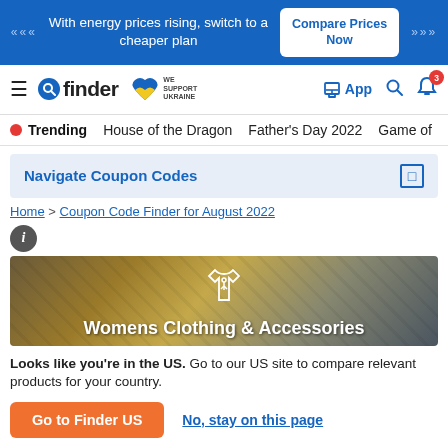With energy prices rising, switch to a cheaper plan | Compare Prices Now
[Figure (screenshot): Finder navigation bar with hamburger menu, finder logo, Ukraine support badge, App download, search, and notification bell with badge 3]
Trending  House of the Dragon  Father's Day 2022  Game of
Navigate Coupon Codes
Home > Coupon Code Finder for August 2022
[Figure (photo): Hero banner image showing Womens Clothing & Accessories with a shirt icon on a background of fabrics]
Looks like you're in the US. Go to our US site to compare relevant products for your country.
Go to Finder US
No, stay on this page